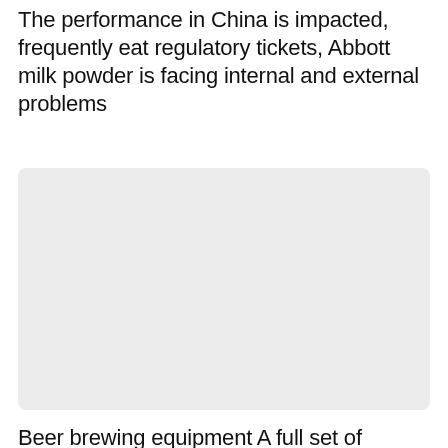The performance in China is impacted, frequently eat regulatory tickets, Abbott milk powder is facing internal and external problems
[Figure (photo): A large light gray rectangular placeholder image with rounded corners]
Beer brewing equipment A full set of